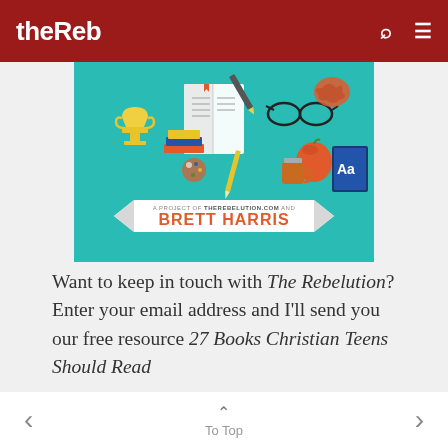theReb
[Figure (illustration): Promotional banner for Brett Harris / TheRebelution.com featuring teal background with educational icons (books, glasses, trophy, apple, brain) and a ribbon banner reading 'A PROJECT OF THEREBELUTION.COM AND BRETT HARRIS']
Want to keep in touch with The Rebelution? Enter your email address and I'll send you our free resource 27 Books Christian Teens Should Read
< To Top >